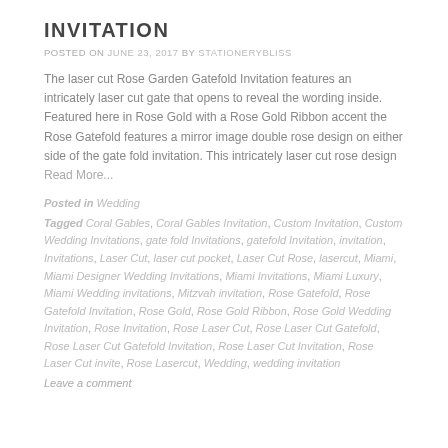INVITATION
POSTED ON JUNE 23, 2017 BY STATIONERYBLISS
The laser cut Rose Garden Gatefold Invitation features an intricately laser cut gate that opens to reveal the wording inside. Featured here in Rose Gold with a Rose Gold Ribbon accent the Rose Gatefold features a mirror image double rose design on either side of the gate fold invitation. This intricately laser cut rose design Read More...
Posted in Wedding
Tagged Coral Gables, Coral Gables Invitation, Custom Invitation, Custom Wedding Invitations, gate fold Invitations, gatefold Invitation, invitation, Invitations, Laser Cut, laser cut pocket, Laser Cut Rose, lasercut, Miami, Miami Designer Wedding Invitations, Miami Invitations, Miami Luxury, Miami Wedding invitations, Mitzvah invitation, Rose Gatefold, Rose Gatefold Invitation, Rose Gold, Rose Gold Ribbon, Rose Gold Wedding Invitation, Rose Invitation, Rose Laser Cut, Rose Laser Cut Gatefold, Rose Laser Cut Gatefold Invitation, Rose Laser Cut Invitation, Rose Laser Cut invite, Rose Lasercut, Wedding, wedding invitation
Leave a comment